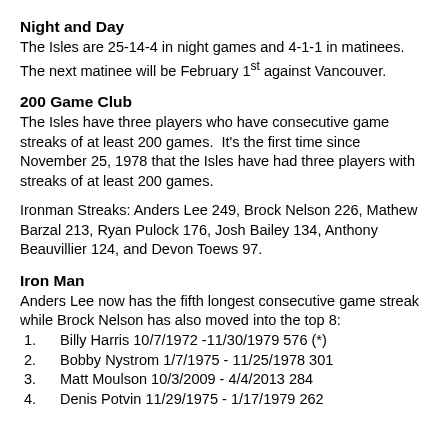Night and Day
The Isles are 25-14-4 in night games and 4-1-1 in matinees. The next matinee will be February 1st against Vancouver.
200 Game Club
The Isles have three players who have consecutive game streaks of at least 200 games.  It's the first time since November 25, 1978 that the Isles have had three players with streaks of at least 200 games.
Ironman Streaks: Anders Lee 249, Brock Nelson 226, Mathew Barzal 213, Ryan Pulock 176, Josh Bailey 134, Anthony Beauvillier 124, and Devon Toews 97.
Iron Man
Anders Lee now has the fifth longest consecutive game streak while Brock Nelson has also moved into the top 8:
1.    Billy Harris 10/7/1972 -11/30/1979 576 (*)
2.    Bobby Nystrom 1/7/1975 - 11/25/1978 301
3.    Matt Moulson 10/3/2009 - 4/4/2013 284
4.    Denis Potvin 11/29/1975 - 1/17/1979 262